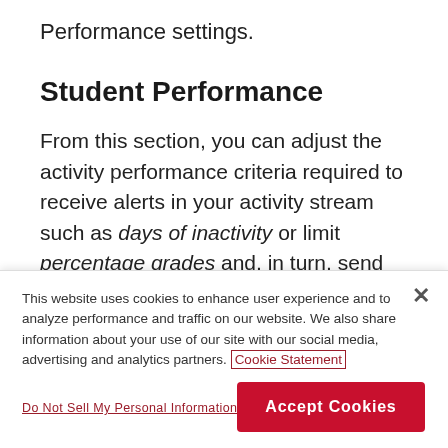Performance settings.
Student Performance
From this section, you can adjust the activity performance criteria required to receive alerts in your activity stream such as days of inactivity or limit percentage grades and, in turn, send those alerts to students. The link to View class performance behavioral graphic is visible only for
This website uses cookies to enhance user experience and to analyze performance and traffic on our website. We also share information about your use of our site with our social media, advertising and analytics partners. Cookie Statement
Do Not Sell My Personal Information
Accept Cookies